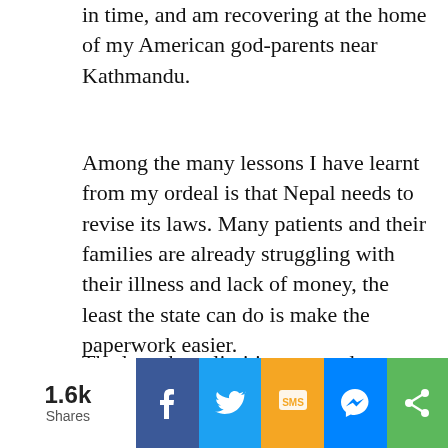in time, and am recovering at the home of my American god-parents near Kathmandu.
Among the many lessons I have learnt from my ordeal is that Nepal needs to revise its laws. Many patients and their families are already struggling with their illness and lack of money, the least the state can do is make the paperwork easier.
The law about limiting organ donors to immediate family was made to prevent commercial organ trade, but what if there are willing donors who are not family, like in my case?
[Figure (infographic): Social share bar showing 1.6k Shares count on left, followed by Facebook (blue), Twitter (light blue), SMS (yellow/orange), Messenger (blue), and Share (green) buttons with their respective icons.]